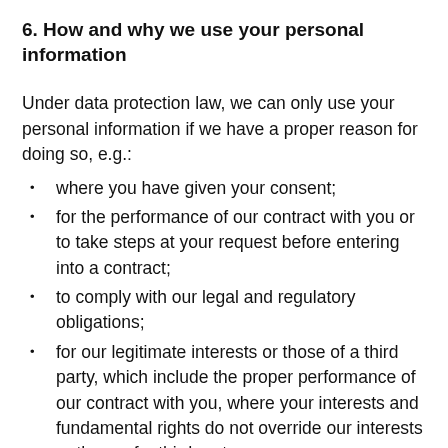6. How and why we use your personal information
Under data protection law, we can only use your personal information if we have a proper reason for doing so, e.g.:
where you have given your consent;
for the performance of our contract with you or to take steps at your request before entering into a contract;
to comply with our legal and regulatory obligations;
for our legitimate interests or those of a third party, which include the proper performance of our contract with you, where your interests and fundamental rights do not override our interests or those of a third party.
A legitimate interest is when we have a business or commercial reason to use your information, so long